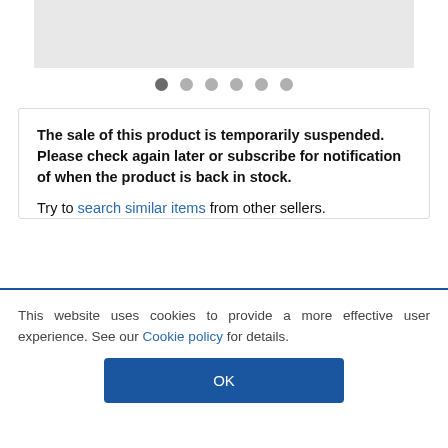[Figure (other): Gray image placeholder rectangle at top of page]
[Figure (other): Six dot carousel indicators, first dot is active/dark, remaining five are light gray]
The sale of this product is temporarily suspended. Please check again later or subscribe for notification of when the product is back in stock.
Try to search similar items from other sellers.
Email
This website uses cookies to provide a more effective user experience. See our Cookie policy for details.
OK